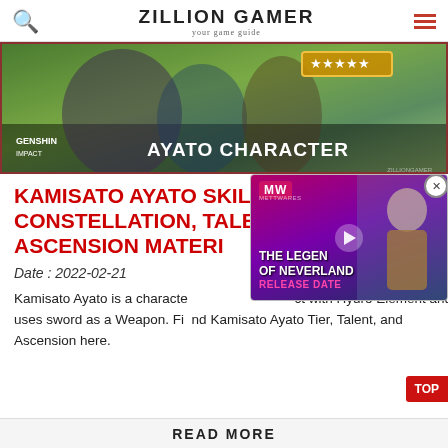ZILLION GAMER — your game guide
[Figure (screenshot): Genshin Impact Ayato Character banner showing anime characters with stars rating box in upper right and 'AYATO CHARACTER' text overlay]
KAMISATO AYATO SKILLS, CONSTELLATION, TALENT, & ASCENSION MATERIALS
Date : 2022-02-21
Kamisato Ayato is a character in Genshin Impact with Hydro Element and uses sword as a Weapon. Find Kamisato Ayato Tier, Talent, and Ascension here.
[Figure (screenshot): Ad overlay for The Legend of Neverland Release Date with MW logo and anime character]
READ MORE